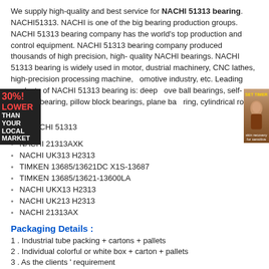We supply high-quality and best service for NACHI 51313 bearing. NACHI51313. NACHI is one of the big bearing production groups. NACHI 51313 bearing company has the world's top production and control equipment. NACHI 51313 bearing company produced thousands of high precision, high-quality NACHI bearings. NACHI 51313 bearing is widely used in motor, industrial machinery, CNC lathes, high-precision processing machine, automotive industry, etc. Leading products of NACHI 51313 bearing is: deep grove ball bearings, self-aligning bearing, pillow block bearings, plane bearing, cylindrical roller bearing.
NACHI 51313
NACHI 21313AXK
NACHI UK313 H2313
TIMKEN 13685/13621DC X1S-13687
TIMKEN 13685/13621-13600LA
NACHI UKX13 H2313
NACHI UK213 H2313
NACHI 21313AX
Packaging Details :
1 . Industrial tube packing + cartons + pallets
2 . Individual colorful or white box + carton + pallets
3 . As the clients ' requirement